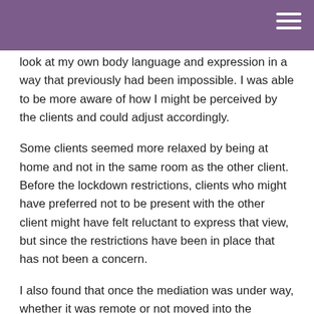look at my own body language and expression in a way that previously had been impossible. I was able to be more aware of how I might be perceived by the clients and could adjust accordingly.
Some clients seemed more relaxed by being at home and not in the same room as the other client. Before the lockdown restrictions, clients who might have preferred not to be present with the other client might have felt reluctant to express that view, but since the restrictions have been in place that has not been a concern.
I also found that once the mediation was under way, whether it was remote or not moved into the background as the clients and myself became absorbed by the issues.